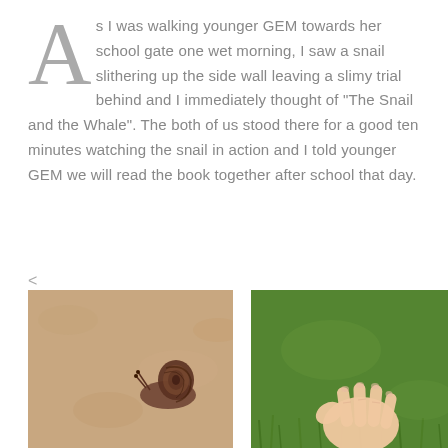As I was walking younger GEM towards her school gate one wet morning, I saw a snail slithering up the side wall leaving a slimy trial behind and I immediately thought of "The Snail and the Whale". The both of us stood there for a good ten minutes watching the snail in action and I told younger GEM we will read the book together after school that day.
[Figure (photo): A snail crawling up a textured beige/tan wall, photographed from below]
[Figure (photo): A child's hand touching grass on a green lawn, photographed from above]